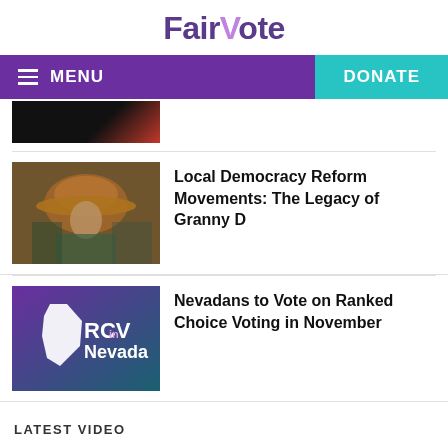FairVote
[Figure (screenshot): Navigation bar with hamburger menu, MENU label in purple, and DONATE button in teal]
[Figure (photo): Partial image of a woman in an orange hat at a rally with other people, dark/red tones]
Local Democracy Reform Movements: The Legacy of Granny D
[Figure (illustration): Purple background with white Nevada state outline and 'RCV in Nevada' text in white and pink]
Nevadans to Vote on Ranked Choice Voting in November
LATEST VIDEO